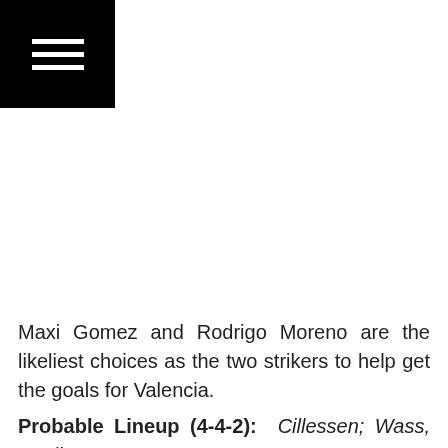☰
Maxi Gomez and Rodrigo Moreno are the likeliest choices as the two strikers to help get the goals for Valencia.
Probable Lineup (4-4-2): Cillessen; Wass, Paulista,